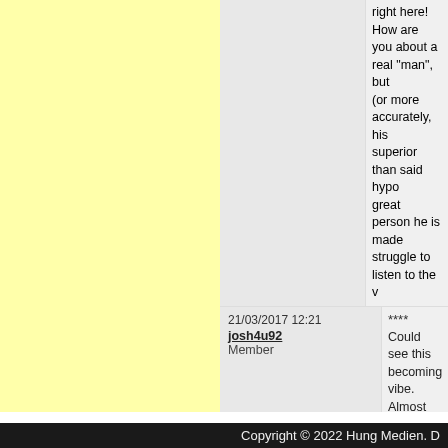right here! How are you about a real "man", but (or more accurately, his superior than said hypo great person he is made struggle to listen to the v
21/03/2017 12:21 josh4u92 Member **** Could see this becoming vibe. Almost Craig David
02/12/2017 06:44 bluezombie Member **** .<br><br>Like Seinfeld's at least from the perspe move on, the new man s untrustworthy.<br><br>h redeeming moments. Th wears sunglasses indoo moments where each a easily the best thing abo a twat the new man is.< Last edited: 02/12/2017
06/08/2018 15:00 alleyt1989 Member **** It's a bit of a laugh
05/11/2018 23:47 theogsean Member *** Wholeheartedly agree w nighttime" line is easily t unlistenable. Sure, it's c reputation with just one conversations with fans. Last edited: 06/11/2018
Add a review
Copyright © 2022 Hung Medien. D